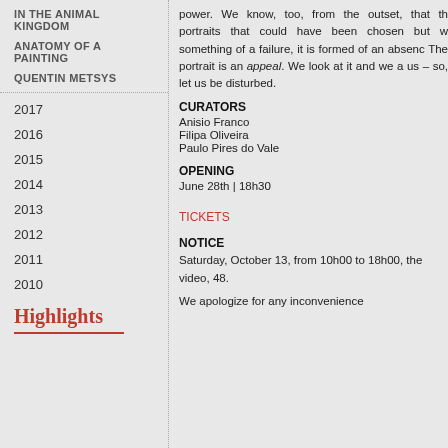IN THE ANIMAL KINGDOM
ANATOMY OF A PAINTING
QUENTIN METSYS
2017
2016
2015
2014
2013
2012
2011
2010
Highlights
power. We know, too, from the outset, that th portraits that could have been chosen but w something of a failure, it is formed of an absenc The portrait is an appeal. We look at it and we a us – so, let us be disturbed.
CURATORS
Anisio Franco
Filipa Oliveira
Paulo Pires do Vale
OPENING
June 28th | 18h30
TICKETS
NOTICE
Saturday, October 13, from 10h00 to 18h00, the video, 48.
We apologize for any inconvenience